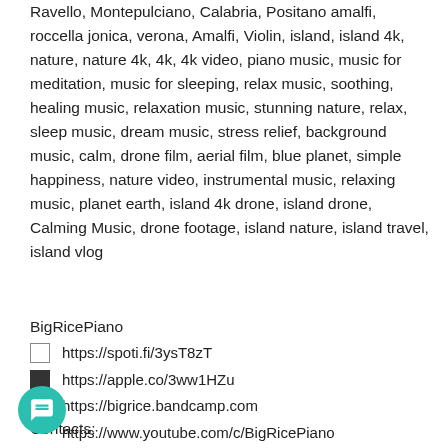Ravello, Montepulciano, Calabria, Positano amalfi, roccella jonica, verona, Amalfi, Violin, island, island 4k, nature, nature 4k, 4k, 4k video, piano music, music for meditation, music for sleeping, relax music, soothing, healing music, relaxation music, stunning nature, relax, sleep music, dream music, stress relief, background music, calm, drone film, aerial film, blue planet, simple happiness, nature video, instrumental music, relaxing music, planet earth, island 4k drone, island drone, Calming Music, drone footage, island nature, island travel, island vlog
BigRicePiano
https://spoti.fi/3ysT8zT
https://apple.co/3ww1HZu
https://bigrice.bandcamp.com
https://www.youtube.com/c/BigRicePiano
Contacts: